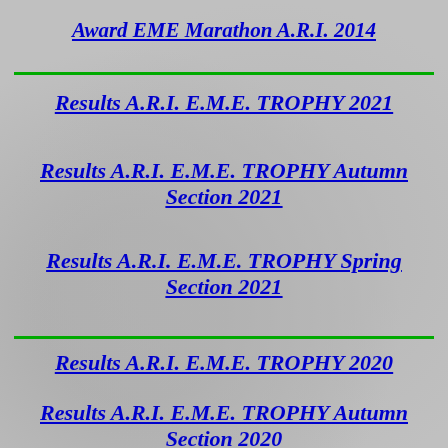Award EME Marathon A.R.I. 2014
Results A.R.I. E.M.E. TROPHY 2021
Results A.R.I. E.M.E. TROPHY Autumn Section 2021
Results A.R.I. E.M.E. TROPHY Spring Section 2021
Results A.R.I. E.M.E. TROPHY 2020
Results A.R.I. E.M.E. TROPHY Autumn Section 2020